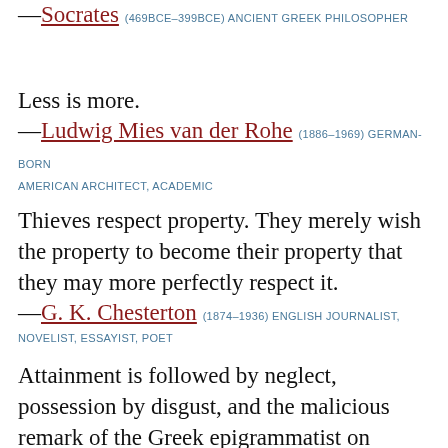—Socrates (469BCE–399BCE) ANCIENT GREEK PHILOSOPHER
Less is more.
—Ludwig Mies van der Rohe (1886–1969) GERMAN-BORN AMERICAN ARCHITECT, ACADEMIC
Thieves respect property. They merely wish the property to become their property that they may more perfectly respect it.
—G. K. Chesterton (1874–1936) ENGLISH JOURNALIST, NOVELIST, ESSAYIST, POET
Attainment is followed by neglect, possession by disgust, and the malicious remark of the Greek epigrammatist on marriage, may be applied to many another course of life, that